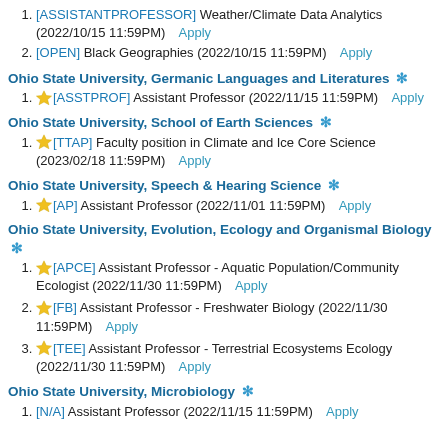[ASSISTANTPROFESSOR] Weather/Climate Data Analytics (2022/10/15 11:59PM) Apply
[OPEN] Black Geographies (2022/10/15 11:59PM) Apply
Ohio State University, Germanic Languages and Literatures
[ASSTPROF] Assistant Professor (2022/11/15 11:59PM) Apply
Ohio State University, School of Earth Sciences
[TTAP] Faculty position in Climate and Ice Core Science (2023/02/18 11:59PM) Apply
Ohio State University, Speech & Hearing Science
[AP] Assistant Professor (2022/11/01 11:59PM) Apply
Ohio State University, Evolution, Ecology and Organismal Biology
[APCE] Assistant Professor - Aquatic Population/Community Ecologist (2022/11/30 11:59PM) Apply
[FB] Assistant Professor - Freshwater Biology (2022/11/30 11:59PM) Apply
[TEE] Assistant Professor - Terrestrial Ecosystems Ecology (2022/11/30 11:59PM) Apply
Ohio State University, Microbiology
[N/A] Assistant Professor (2022/11/15 11:59PM) Apply